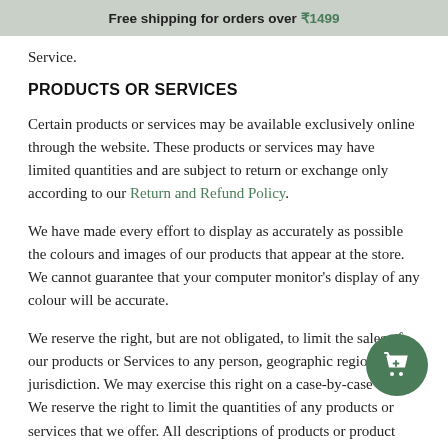Free shipping for orders over ₹1499
Service.
PRODUCTS OR SERVICES
Certain products or services may be available exclusively online through the website. These products or services may have limited quantities and are subject to return or exchange only according to our Return and Refund Policy.
We have made every effort to display as accurately as possible the colours and images of our products that appear at the store. We cannot guarantee that your computer monitor's display of any colour will be accurate.
We reserve the right, but are not obligated, to limit the sales of our products or Services to any person, geographic region or jurisdiction. We may exercise this right on a case-by-case. We reserve the right to limit the quantities of any products or services that we offer. All descriptions of products or product pricing may...